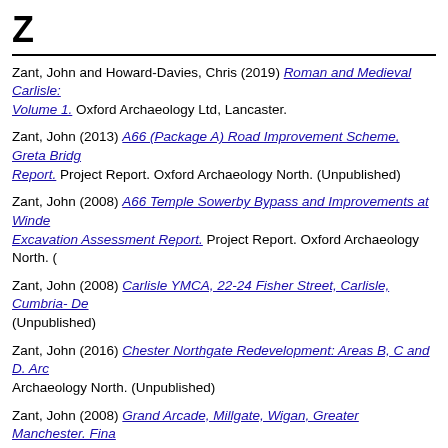Z
Zant, John and Howard-Davies, Chris (2019) Roman and Medieval Carlisle: Volume 1. Oxford Archaeology Ltd, Lancaster.
Zant, John (2013) A66 (Package A) Road Improvement Scheme, Greta Bridge Report. Project Report. Oxford Archaeology North. (Unpublished)
Zant, John (2008) A66 Temple Sowerby Bypass and Improvements at Winder Excavation Assessment Report. Project Report. Oxford Archaeology North. (
Zant, John (2008) Carlisle YMCA, 22-24 Fisher Street, Carlisle, Cumbria- De (Unpublished)
Zant, John (2016) Chester Northgate Redevelopment: Areas B, C and D. Arc Archaeology North. (Unpublished)
Zant, John (2008) Grand Arcade, Millgate, Wigan, Greater Manchester. Fina Archaeology North. (Unpublished)
Zant, John (2011) Joint Service Centre, Millgate, Wigan, Greater Mancheste Report. Oxford Archaeology North. (Unpublished)
Zant, John (2002) Rickergate Carlisle. Post-Excavation Assessment Report. (Unpublished)
Zant, John (2009) The Lanes, Carlisle, Volume 2. Project Design for Comple Report. Oxford Archaeology North. (Unpublished)
Zant, John (2010) The Southern Lanes, Carlisle, Publication of Existing Unpo